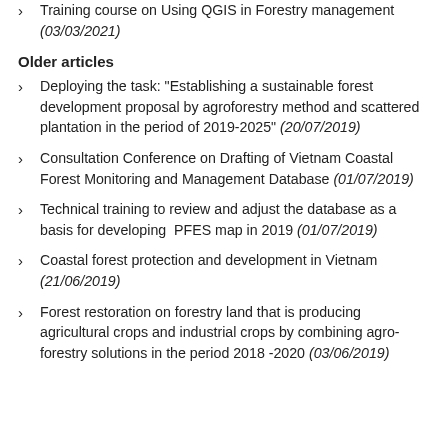Training course on Using QGIS in Forestry management (03/03/2021)
Older articles
Deploying the task: "Establishing a sustainable forest development proposal by agroforestry method and scattered plantation in the period of 2019-2025" (20/07/2019)
Consultation Conference on Drafting of Vietnam Coastal Forest Monitoring and Management Database (01/07/2019)
Technical training to review and adjust the database as a basis for developing  PFES map in 2019 (01/07/2019)
Coastal forest protection and development in Vietnam (21/06/2019)
Forest restoration on forestry land that is producing agricultural crops and industrial crops by combining agro-forestry solutions in the period 2018 -2020 (03/06/2019)